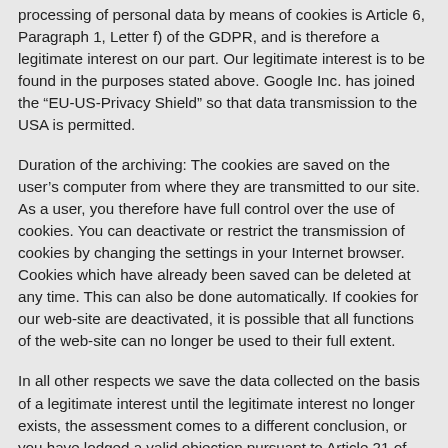processing of personal data by means of cookies is Article 6, Paragraph 1, Letter f) of the GDPR, and is therefore a legitimate interest on our part. Our legitimate interest is to be found in the purposes stated above. Google Inc. has joined the “EU-US-Privacy Shield” so that data transmission to the USA is permitted.
Duration of the archiving: The cookies are saved on the user’s computer from where they are transmitted to our site. As a user, you therefore have full control over the use of cookies. You can deactivate or restrict the transmission of cookies by changing the settings in your Internet browser. Cookies which have already been saved can be deleted at any time. This can also be done automatically. If cookies for our web-site are deactivated, it is possible that all functions of the web-site can no longer be used to their full extent.
In all other respects we save the data collected on the basis of a legitimate interest until the legitimate interest no longer exists, the assessment comes to a different conclusion, or you have lodged a valid objection pursuant to Article 21 of the GDPR (on this point see the highlighted “Note on a particular right to object” in Section C). Whether or not the legitimate interest still exists is checked regularly, at least once per year. In particular, our interest no longer exists if, due to the lapse of time, the data is no longer sufficiently relevant for us with regard to the evaluation and optimisation of the use of the web-site to an extent that is d